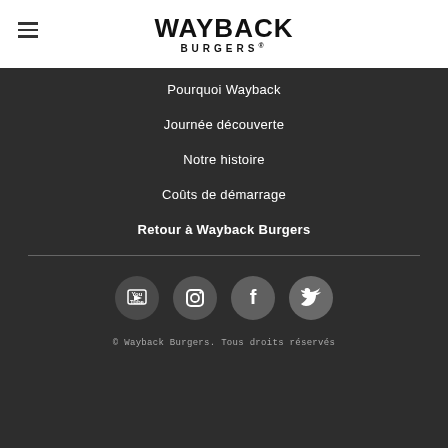WAYBACK BURGERS®
Pourquoi Wayback
Journée découverte
Notre histoire
Coûts de démarrage
Retour à Wayback Burgers
[Figure (illustration): Four social media icons in dark circles: YouTube, Instagram, Facebook, Twitter]
© Wayback Burgers. Tous droits réservés